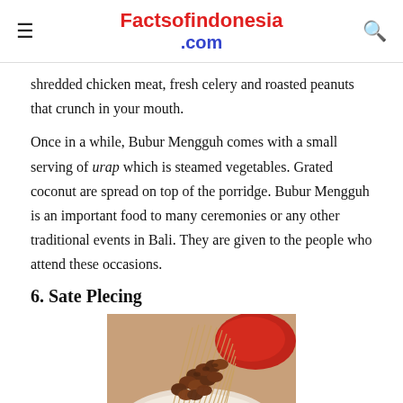Factsofindonesia.com
shredded chicken meat, fresh celery and roasted peanuts that crunch in your mouth.
Once in a while, Bubur Mengguh comes with a small serving of urap which is steamed vegetables. Grated coconut are spread on top of the porridge. Bubur Mengguh is an important food to many ceremonies or any other traditional events in Bali. They are given to the people who attend these occasions.
6. Sate Plecing
[Figure (photo): Photo of Sate Plecing: skewered grilled meat on sticks arranged in a bundle on a plate with red sauce/sambal]